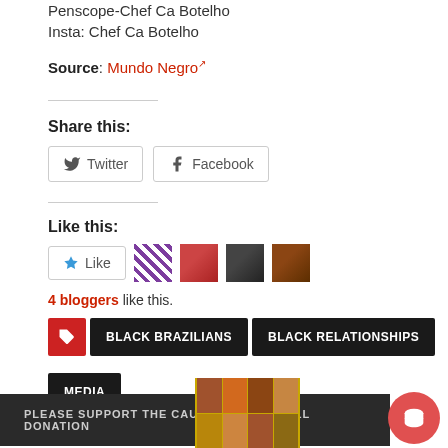Penscope-Chef Ca Botelho
Insta: Chef Ca Botelho
Source: Mundo Negro ↗
Share this:
Twitter  Facebook
Like this:
Like  [4 blogger avatars]
4 bloggers like this.
BLACK BRAZILIANS  BLACK RELATIONSHIPS  MEDIA
PLEASE SUPPORT THE CAUSE WITH A SMALL DONATION